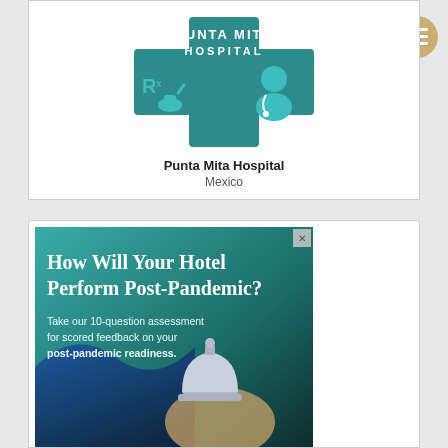[Figure (logo): Punta Mita Hospital logo with teal cross shape, Rx pharmacy symbol, and doctor icon]
Punta Mita Hospital
Mexico
[Figure (infographic): Advertisement banner: 'How Will Your Hotel Perform Post-Pandemic? Take our 10-question assessment for scored feedback on your post-pandemic readiness.' Shows a hand ringing a hotel desk bell on a teal-to-dark gradient background.]